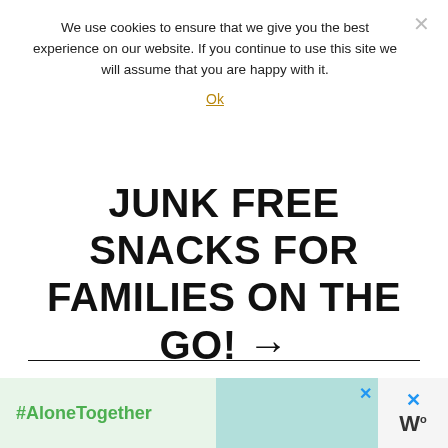We use cookies to ensure that we give you the best experience on our website. If you continue to use this site we will assume that you are happy with it.
Ok
JUNK FREE SNACKS FOR FAMILIES ON THE GO! →
5 COMMENTS
Comment
Write your comment...
[Figure (photo): Advertisement banner: #AloneTogether with photo of a family and an X close button]